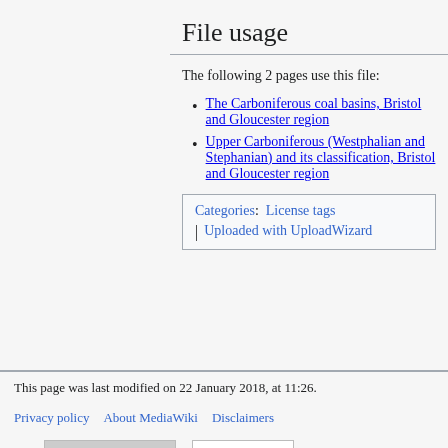File usage
The following 2 pages use this file:
The Carboniferous coal basins, Bristol and Gloucester region
Upper Carboniferous (Westphalian and Stephanian) and its classification, Bristol and Gloucester region
Categories:  License tags | Uploaded with UploadWizard
This page was last modified on 22 January 2018, at 11:26.
Privacy policy   About MediaWiki   Disclaimers